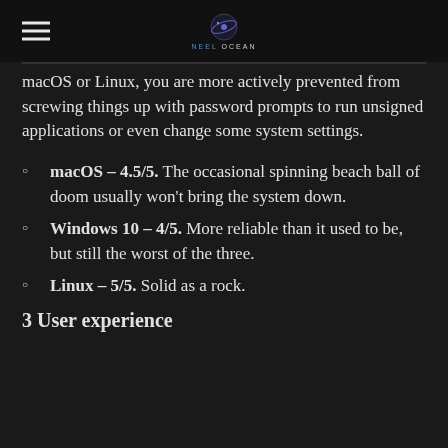NEEL OCEAN
macOS or Linux, you are more actively prevented from screwing things up with password prompts to run unsigned applications or even change some system settings.
macOS – 4.5/5. The occasional spinning beach ball of doom usually won't bring the system down.
Windows 10 – 4/5. More reliable than it used to be, but still the worst of the three.
Linux – 5/5. Solid as a rock.
3 User experience